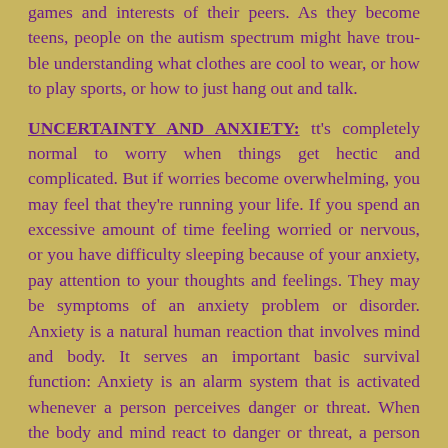games and interests of their peers. As they become teens, people on the autism spectrum might have trouble understanding what clothes are cool to wear, or how to play sports, or how to just hang out and talk.
UNCERTAINTY AND ANXIETY: It's completely normal to worry when things get hectic and complicated. But if worries become overwhelming, you may feel that they're running your life. If you spend an excessive amount of time feeling worried or nervous, or you have difficulty sleeping because of your anxiety, pay attention to your thoughts and feelings. They may be symptoms of an anxiety problem or disorder. Anxiety is a natural human reaction that involves mind and body. It serves an important basic survival function: Anxiety is an alarm system that is activated whenever a person perceives danger or threat. When the body and mind react to danger or threat, a person feels physical sensations of anxiety — things like a faster heartbeat and breathing, tense muscles, sweaty palms, a queasy